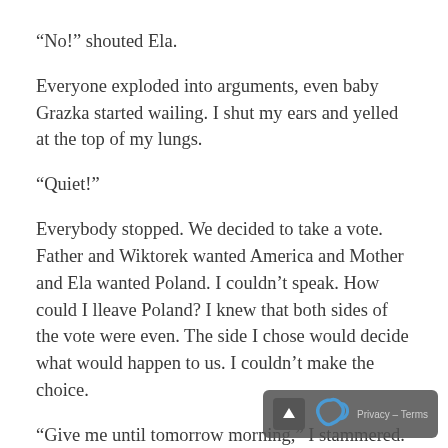“No!” shouted Ela.
Everyone exploded into arguments, even baby Grazka started wailing. I shut my ears and yelled at the top of my lungs.
“Quiet!”
Everybody stopped. We decided to take a vote. Father and Wiktorek wanted America and Mother and Ela wanted Poland. I couldn’t speak. How could I leave Poland? I knew that both sides of the vote were even. The side I chose would decide what would happen to us. I couldn’t make the choice.
“Give me until tomorrow morning,” I stammered.
We agreed.
That night I had nightmares. One after another, I